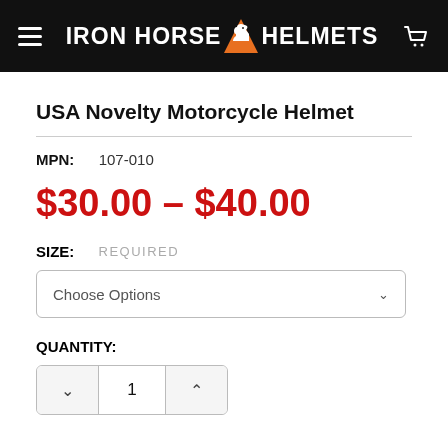IRON HORSE HELMETS
USA Novelty Motorcycle Helmet
MPN: 107-010
$30.00 - $40.00
SIZE: REQUIRED
Choose Options
QUANTITY:
1